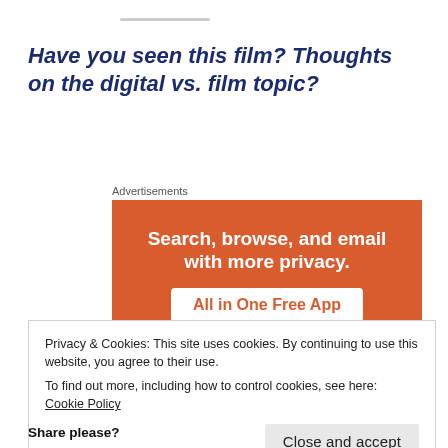Have you seen this film? Thoughts on the digital vs. film topic?
Advertisements
[Figure (other): Orange advertisement banner reading 'Search, browse, and email with more privacy. All in One Free App' with a phone image at bottom]
Privacy & Cookies: This site uses cookies. By continuing to use this website, you agree to their use.
To find out more, including how to control cookies, see here: Cookie Policy
Close and accept
Share please?